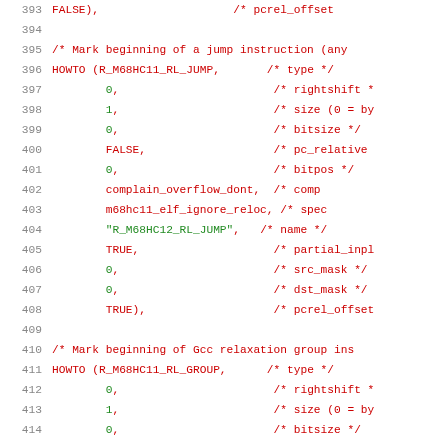Code listing lines 393-414, C source code for M68HC11/HC12 relocation entries
393     FALSE),                    /* pcrel_offset
394
395     /* Mark beginning of a jump instruction (any
396     HOWTO (R_M68HC11_RL_JUMP,       /* type */
397             0,                       /* rightshift *
398             1,                       /* size (0 = by
399             0,                       /* bitsize */
400             FALSE,                   /* pc_relative
401             0,                       /* bitpos */
402             complain_overflow_dont,  /* comp
403             m68hc11_elf_ignore_reloc, /* spec
404             "R_M68HC12_RL_JUMP",   /* name */
405             TRUE,                    /* partial_inpl
406             0,                       /* src_mask */
407             0,                       /* dst_mask */
408             TRUE),                   /* pcrel_offset
409
410     /* Mark beginning of Gcc relaxation group ins
411     HOWTO (R_M68HC11_RL_GROUP,      /* type */
412             0,                       /* rightshift *
413             1,                       /* size (0 = by
414             0,                       /* bitsize */